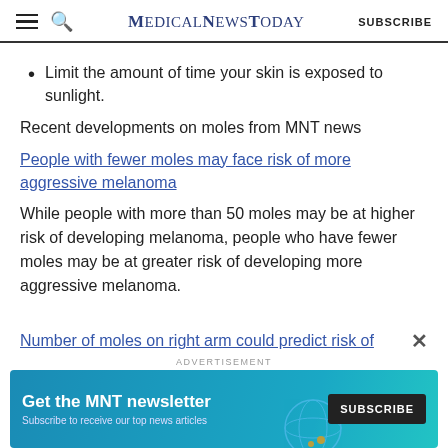MedicalNewsToday SUBSCRIBE
Limit the amount of time your skin is exposed to sunlight.
Recent developments on moles from MNT news
People with fewer moles may face risk of more aggressive melanoma
While people with more than 50 moles may be at higher risk of developing melanoma, people who have fewer moles may be at greater risk of developing more aggressive melanoma.
Number of moles on right arm could predict risk of
[Figure (infographic): Advertisement banner for MNT newsletter with text 'Get the MNT newsletter', 'Subscribe to receive our top news articles', and a SUBSCRIBE button]